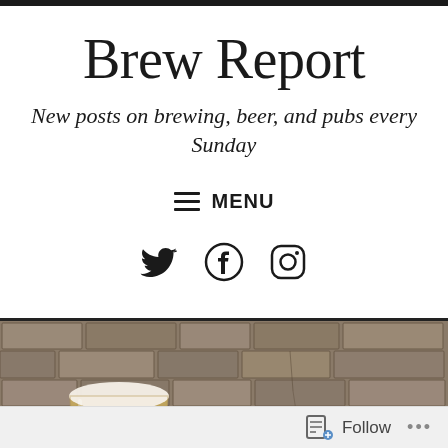Brew Report
New posts on brewing, beer, and pubs every Sunday
≡ MENU
[Figure (screenshot): Social media icons: Twitter bird, Facebook circle, Instagram camera circle]
[Figure (photo): Photo of a glass of pale/hazy beer (likely a pint of lager or pale ale) in front of a stone brick wall]
Follow ...